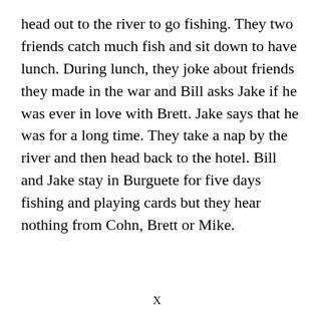head out to the river to go fishing. They two friends catch much fish and sit down to have lunch. During lunch, they joke about friends they made in the war and Bill asks Jake if he was ever in love with Brett. Jake says that he was for a long time. They take a nap by the river and then head back to the hotel. Bill and Jake stay in Burguete for five days fishing and playing cards but they hear nothing from Cohn, Brett or Mike.
X